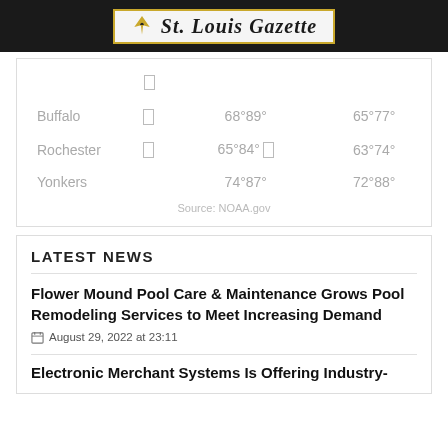St. Louis Gazette
| City |  | Day 1 | Day 2 |
| --- | --- | --- | --- |
| Buffalo |  | 68°89° | 65°77° |
| Rochester |  | 65°84° | 63°74° |
| Yonkers |  | 74°87° | 72°88° |
Source: NOAA.gov
LATEST NEWS
Flower Mound Pool Care & Maintenance Grows Pool Remodeling Services to Meet Increasing Demand
August 29, 2022 at 23:11
Electronic Merchant Systems Is Offering Industry-